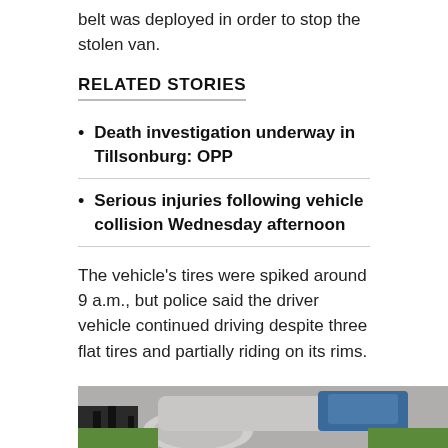belt was deployed in order to stop the stolen van.
RELATED STORIES
Death investigation underway in Tillsonburg: OPP
Serious injuries following vehicle collision Wednesday afternoon
The vehicle's tires were spiked around 9 a.m., but police said the driver vehicle continued driving despite three flat tires and partially riding on its rims.
[Figure (photo): Partial view of a damaged vehicle on grass, black and white markings visible]